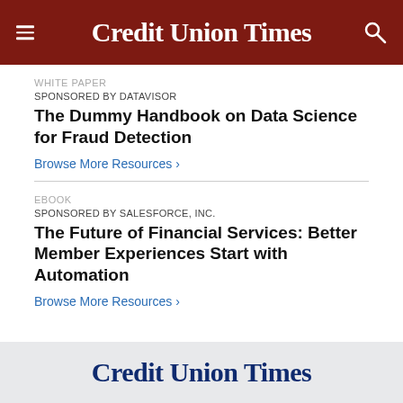Credit Union Times
WHITE PAPER
SPONSORED BY DATAVISOR
The Dummy Handbook on Data Science for Fraud Detection
Browse More Resources ›
EBOOK
SPONSORED BY SALESFORCE, INC.
The Future of Financial Services: Better Member Experiences Start with Automation
Browse More Resources ›
Credit Union Times